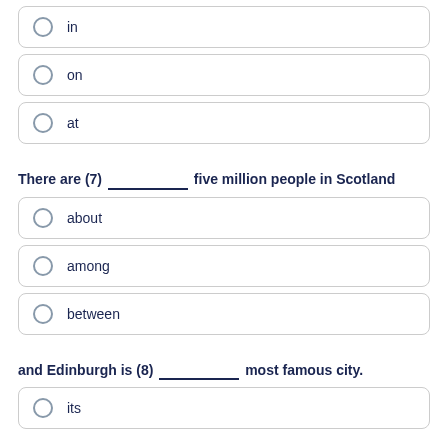in
on
at
There are (7) __________ five million people in Scotland
about
among
between
and Edinburgh is (8) __________ most famous city.
its